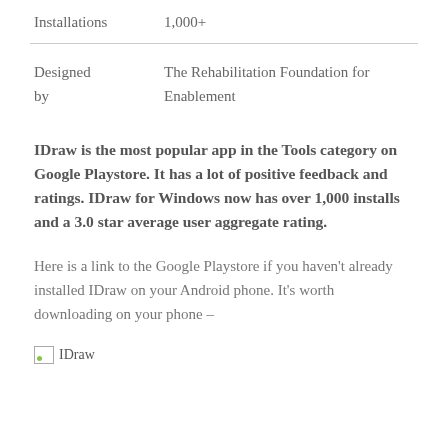| Installations | 1,000+ |
| Designed by | The Rehabilitation Foundation for Enablement |
IDraw is the most popular app in the Tools category on Google Playstore. It has a lot of positive feedback and ratings. IDraw for Windows now has over 1,000 installs and a 3.0 star average user aggregate rating.
Here is a link to the Google Playstore if you haven't already installed IDraw on your Android phone. It's worth downloading on your phone –
[Figure (illustration): Broken image placeholder icon labeled 'IDraw']